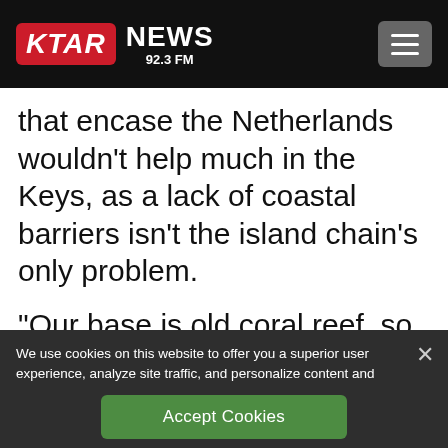[Figure (logo): KTAR NEWS 92.3 FM logo with red KTAR box and white NEWS text, plus hamburger menu icon on black navigation bar]
that encase the Netherlands wouldn't help much in the Keys, as a lack of coastal barriers isn't the island chain's only problem.

“Our base is old coral reef, so it’s full of holes,” says Alison Higgins, the sustainability
We use cookies on this website to offer you a superior user experience, analyze site traffic, and personalize content and advertisements. By continuing to use our site, you consent to our use of cookies. Please visit our Privacy Policy for more information.
Accept Cookies